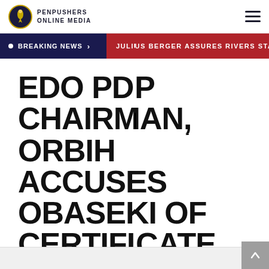PenPushers Online Media
BREAKING NEWS > JULIUS BERGER ASSURES RIVERS STATE G
EDO PDP CHAIRMAN, ORBIH ACCUSES OBASEKI OF CERTIFICATE FORGERY
By Pen Pushers — On Feb 16, 2020 | NEWS